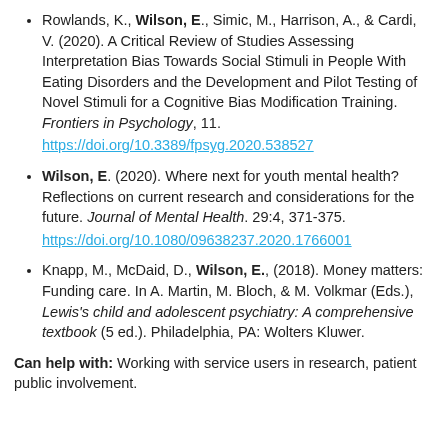Rowlands, K., Wilson, E., Simic, M., Harrison, A., & Cardi, V. (2020). A Critical Review of Studies Assessing Interpretation Bias Towards Social Stimuli in People With Eating Disorders and the Development and Pilot Testing of Novel Stimuli for a Cognitive Bias Modification Training. Frontiers in Psychology, 11. https://doi.org/10.3389/fpsyg.2020.538527
Wilson, E. (2020). Where next for youth mental health? Reflections on current research and considerations for the future. Journal of Mental Health. 29:4, 371-375. https://doi.org/10.1080/09638237.2020.1766001
Knapp, M., McDaid, D., Wilson, E., (2018). Money matters: Funding care. In A. Martin, M. Bloch, & M. Volkmar (Eds.), Lewis's child and adolescent psychiatry: A comprehensive textbook (5 ed.). Philadelphia, PA: Wolters Kluwer.
Can help with: Working with service users in research, patient public involvement.